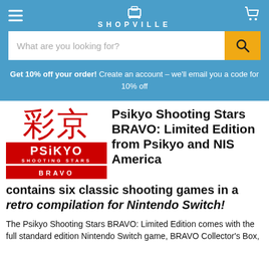SHOPVILLE
What are you looking for?
Get 10% off your order! Create an account - we'll email you a code for 10% off
[Figure (logo): Psikyo Shooting Stars BRAVO logo with red kanji characters and red/white text]
Psikyo Shooting Stars BRAVO: Limited Edition from Psikyo and NIS America
contains six classic shooting games in a retro compilation for Nintendo Switch!
The Psikyo Shooting Stars BRAVO: Limited Edition comes with the full standard edition Nintendo Switch game, BRAVO Collector's Box,